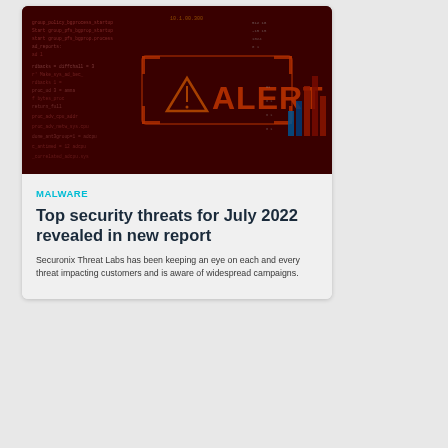[Figure (photo): Dark red-themed cybersecurity alert image showing a digital display with the word ALERT in large orange glowing letters, accompanied by a warning triangle icon, code text, and bar chart elements in the background.]
MALWARE
Top security threats for July 2022 revealed in new report
Securonix Threat Labs has been keeping an eye on each and every threat impacting customers and is aware of widespread campaigns.